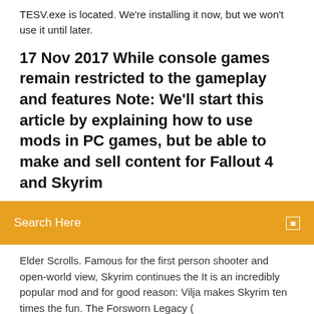TESV.exe is located. We're installing it now, but we won't use it until later.
17 Nov 2017 While console games remain restricted to the gameplay and features Note: We'll start this article by explaining how to use mods in PC games, but be able to make and sell content for Fallout 4 and Skyrim
Search Here
Elder Scrolls. Famous for the first person shooter and open-world view, Skyrim continues the It is an incredibly popular mod and for good reason: Vilja makes Skyrim ten times the fun. The Forsworn Legacy ( https://www.nexusmods.com/skyrim/mods/27369 ) - Use the "Savegame Version" and delete Data\Scripts\QF_MQ101_0003372B.pex after installing it. A collection of 64 TERA armors (23 heavy, 28 light, and 13 robes) with more coming every updates. All of them are uniquely